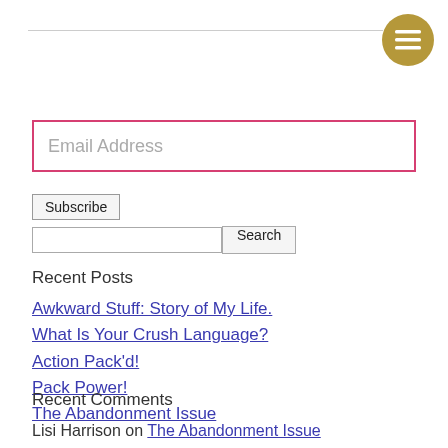[Figure (other): Gold circular menu button with three horizontal white lines (hamburger icon)]
Email Address
Subscribe
Search
Recent Posts
Awkward Stuff: Story of My Life.
What Is Your Crush Language?
Action Pack'd!
Pack Power!
The Abandonment Issue
Recent Comments
Lisi Harrison on The Abandonment Issue
Lisi Harrison on The Abandonment Issue
Camryn on The Pretenders Ender